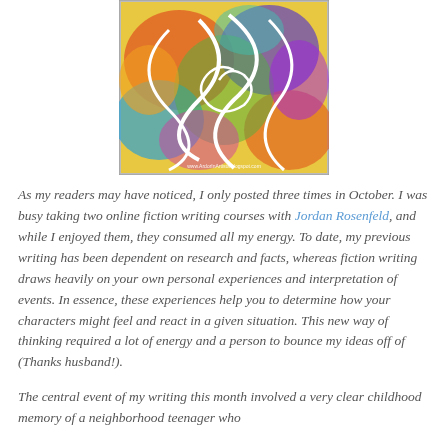[Figure (illustration): Colorful abstract swirling painting with vibrant colors (yellow, orange, blue, purple, red, green) and white curving shapes, displayed in a bordered square frame. A small watermark URL is visible at the bottom right.]
As my readers may have noticed, I only posted three times in October. I was busy taking two online fiction writing courses with Jordan Rosenfeld, and while I enjoyed them, they consumed all my energy. To date, my previous writing has been dependent on research and facts, whereas fiction writing draws heavily on your own personal experiences and interpretation of events. In essence, these experiences help you to determine how your characters might feel and react in a given situation. This new way of thinking required a lot of energy and a person to bounce my ideas off of (Thanks husband!).
The central event of my writing this month involved a very clear childhood memory of a neighborhood teenager who